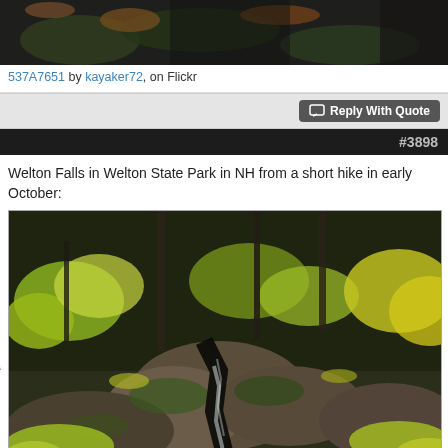[Figure (photo): Partial view of a nature/autumn photo (top portion cut off) showing moss, rocks, and autumn leaves.]
537A7651 by kayaker72, on Flickr
Reply With Quote
#3898
Welton Falls in Welton State Park in NH from a short hike in early October:
[Figure (photo): Forest gorge landscape photo showing Welton Falls area in New Hampshire in early October, with moss-covered rocks, yellow and green autumn foliage, and a narrow waterfall/stream visible between rock walls.]